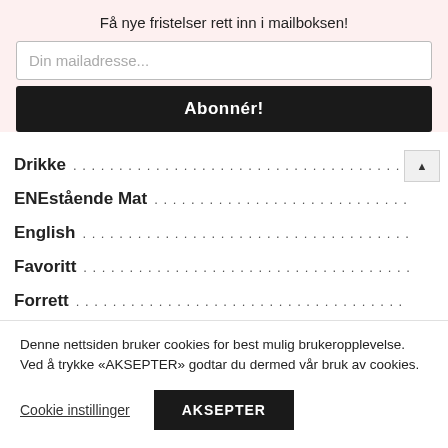Få nye fristelser rett inn i mailboksen!
Din mailadresse...
Abonnér!
Drikke
ENEstående Mat
English
Favoritt
Forrett
Denne nettsiden bruker cookies for best mulig brukeropplevelse. Ved å trykke «AKSEPTER» godtar du dermed vår bruk av cookies.
Cookie instillinger
AKSEPTER